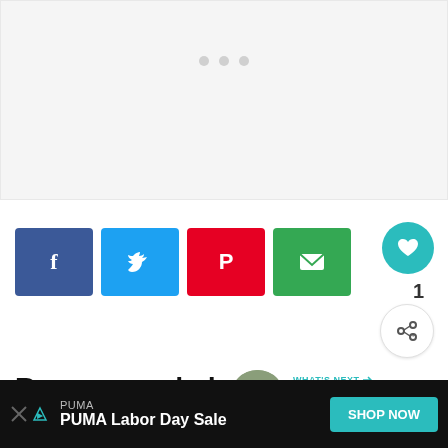[Figure (other): Light gray placeholder image area with three dots indicator at top]
[Figure (infographic): Social share buttons: Facebook (blue), Twitter (light blue), Pinterest (red), Email (green)]
[Figure (other): Heart/save button (teal circle) with count 1 below, and share+ button (white circle)]
Recommended
WHAT'S NEXT → Baby Travel Destinations...
[Figure (photo): Circular thumbnail image for Baby Travel Destinations article]
[Figure (screenshot): Advertisement bar at bottom: PUMA - PUMA Labor Day Sale - SHOP NOW button]